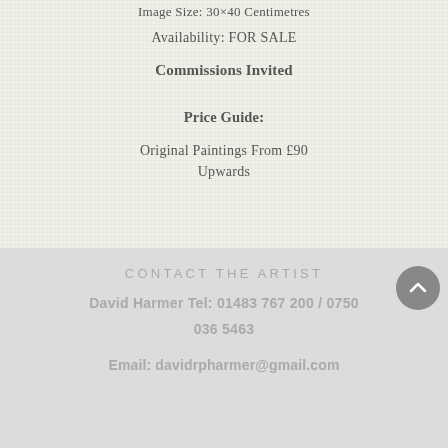Image Size: 30×40 Centimetres
Availability: FOR SALE
Commissions Invited
Price Guide:
Original Paintings From £90 Upwards
CONTACT THE ARTIST
David Harmer Tel: 01483 767 200 / 0750
036 5463
Email: davidrpharmer@gmail.com